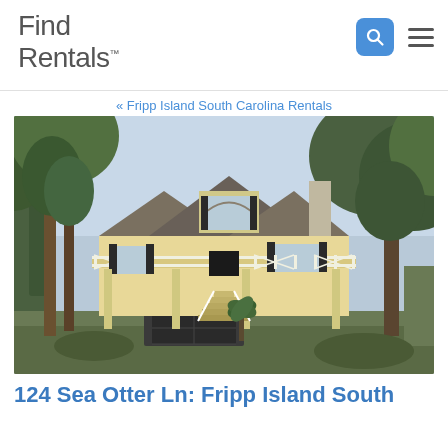Find Rentals
« Fripp Island South Carolina Rentals
[Figure (photo): Exterior photo of a two-story coastal/beach-style house with white railings, a covered porch on the second floor, a garage underneath, exterior stairs, and surrounded by palm trees and large oaks on Fripp Island, South Carolina.]
124 Sea Otter Ln: Fripp Island South Carolina Rental